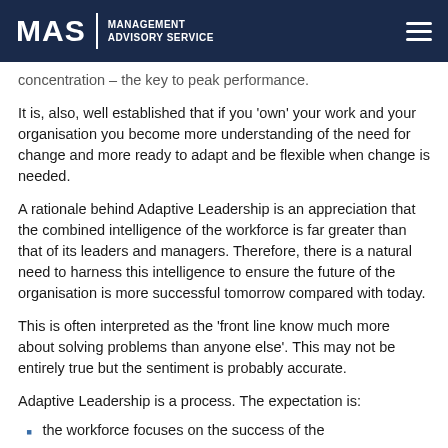MAS | MANAGEMENT ADVISORY SERVICE
concentration – the key to peak performance.
It is, also, well established that if you 'own' your work and your organisation you become more understanding of the need for change and more ready to adapt and be flexible when change is needed.
A rationale behind Adaptive Leadership is an appreciation that the combined intelligence of the workforce is far greater than that of its leaders and managers. Therefore, there is a natural need to harness this intelligence to ensure the future of the organisation is more successful tomorrow compared with today.
This is often interpreted as the 'front line know much more about solving problems than anyone else'. This may not be entirely true but the sentiment is probably accurate.
Adaptive Leadership is a process. The expectation is:
the workforce focuses on the success of the